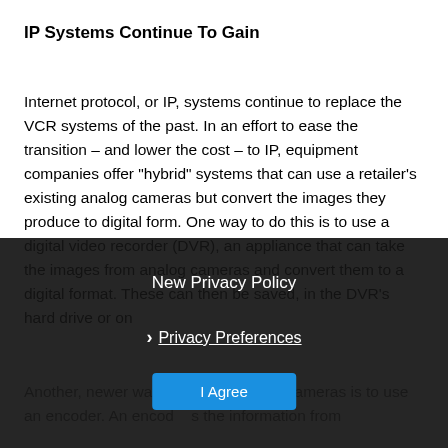IP Systems Continue To Gain
Internet protocol, or IP, systems continue to replace the VCR systems of the past. In an effort to ease the transition – and lower the cost – to IP, equipment companies offer “hybrid” systems that can use a retailer’s existing analog cameras but convert the images they produce to digital form. One way to do this is to use a digital video recorder (DVR), an appliance that can take the images from analog cameras and convert them to a digital format. These can then be saved, in the DVR’s hard drive or on
Another, newer way to co    se analog cameras is to use an encoder. An encod     s the information from
[Figure (screenshot): Cookie consent / privacy policy modal overlay with dark background. Contains title 'New Privacy Policy', a close button (X), a 'Privacy Preferences' link with chevron, and an 'I Agree' blue button.]